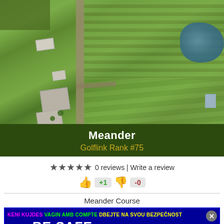[Figure (photo): Aerial satellite view of a golf course property called Meander, showing green fields, a vertical road/path, farm buildings, and a pond in the upper right.]
Meander
Golflink Rank #75
★★★★★ 0 reviews | Write a review
+1  -0
Meander Course
[Figure (infographic): Safety banner with multilingual text: KENI KUJDES, VAGIN AMB COMPTE, DBEJTE NA SVOU BEZPECNOST, নিরাপদ থাকুন, BE SAFE, AVEȚI GRIJĂ, PAS GODT PÅ, WEES VOORZICHTIG, TOIMIGE OHUTULT, CUÍDESE. With a close button.]